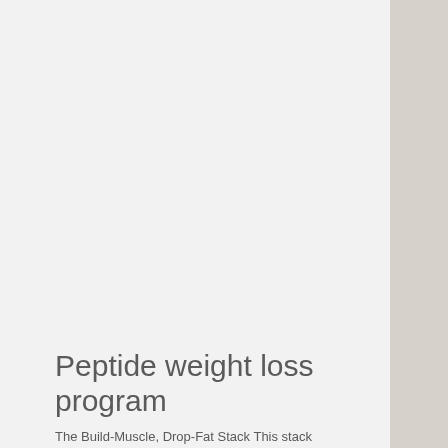Peptide weight loss program
The Build-Muscle, Drop-Fat Stack This stack